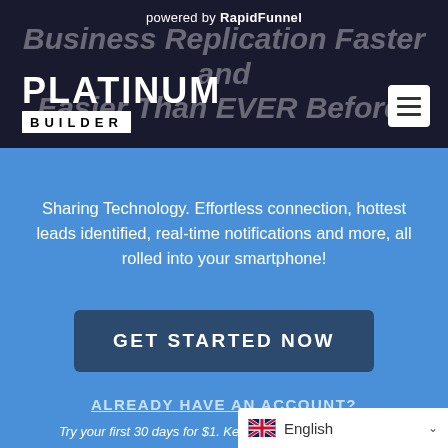powered by RapidFunnel
[Figure (logo): Platinum Builder logo — white bold text PLATINUM on dark background with BUILDER in black on white box]
Sharing Technology. Effortless connection, hottest leads identified, real-time notifications and more, all rolled into your smartphone!
GET STARTED NOW
ALREADY HAVE AN ACCOUNT?
Try your first 30 days for $1. Keep the App for $35/month.
No contract to sign. Cancel any time if you change your mind.